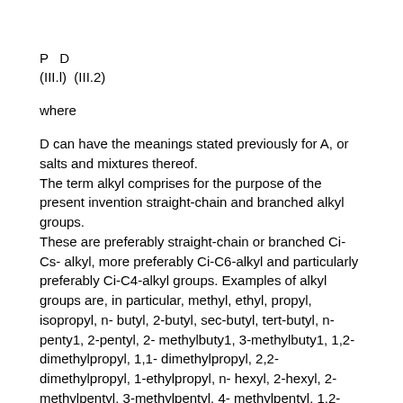where
D can have the meanings stated previously for A, or salts and mixtures thereof. The term alkyl comprises for the purpose of the present invention straight-chain and branched alkyl groups. These are preferably straight-chain or branched Ci-Cs-alkyl, more preferably Ci-C6-alkyl and particularly preferably Ci-C4-alkyl groups. Examples of alkyl groups are, in particular, methyl, ethyl, propyl, isopropyl, n-butyl, 2-butyl, sec-butyl, tert-butyl, n-penty1, 2-pentyl, 2-methylbuty1, 3-methylbuty1, 1,2-dimethylpropyl, 1,1-dimethylpropyl, 2,2-dimethylpropyl, 1-ethylpropyl, n-hexyl, 2-hexyl, 2-methylpentyl, 3-methylpentyl, 4-methylpentyl, 1,2-dimethylbutyl, 1,3-dimethylbutyl, 2,3-dimethylbutyl, 1,1-dimethylbutyl, 2,2-dimethylbutyl, 3,3-dimethylbutyl, 1,1,2-trimethylpropyl, 1,2,2-trimethylpropyl, 1-ethylbutyl, 2-ethylbutyl, l-ethyl-2-